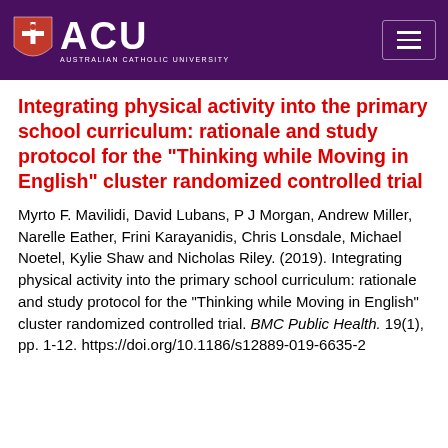[Figure (logo): ACU (Australian Catholic University) logo with shield emblem and university name, on dark purple header bar with hamburger menu icon]
Integrating physical activity into the primary school curriculum: rationale and study protocol for the "Thinking while Moving in English" cluster randomized controlled trial
Myrto F. Mavilidi, David Lubans, P J Morgan, Andrew Miller, Narelle Eather, Frini Karayanidis, Chris Lonsdale, Michael Noetel, Kylie Shaw and Nicholas Riley. (2019). Integrating physical activity into the primary school curriculum: rationale and study protocol for the "Thinking while Moving in English" cluster randomized controlled trial. BMC Public Health. 19(1), pp. 1-12. https://doi.org/10.1186/s12889-019-6635-2